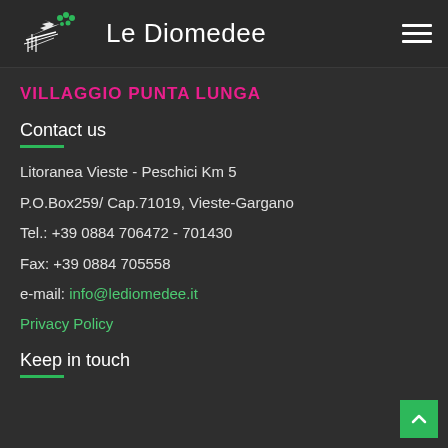Le Diomedee
VILLAGGIO PUNTA LUNGA
Contact us
Litoranea Vieste - Peschici Km 5
P.O.Box259/ Cap.71019, Vieste-Gargano
Tel.: +39 0884 706472 - 701430
Fax: +39 0884 705558
e-mail: info@lediomedee.it
Privacy Policy
Keep in touch